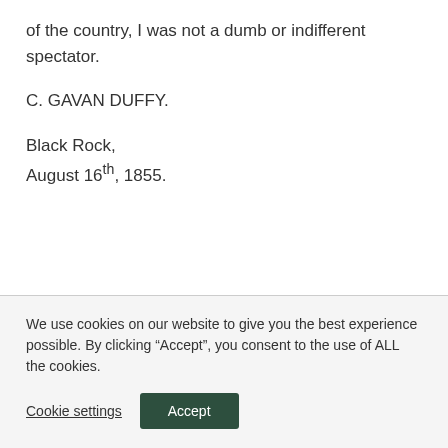of the country, I was not a dumb or indifferent spectator.
C. GAVAN DUFFY.
Black Rock,
August 16th, 1855.
We use cookies on our website to give you the best experience possible. By clicking “Accept”, you consent to the use of ALL the cookies.
Cookie settings
Accept